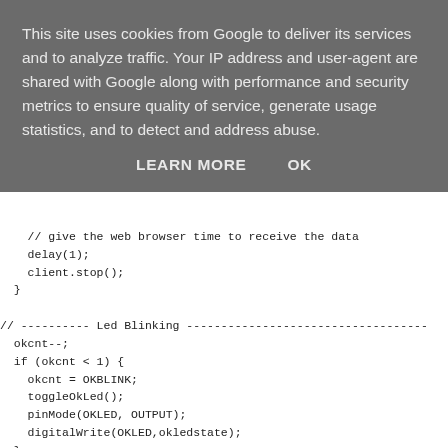This site uses cookies from Google to deliver its services and to analyze traffic. Your IP address and user-agent are shared with Google along with performance and security metrics to ensure quality of service, generate usage statistics, and to detect and address abuse.
LEARN MORE    OK
// give the web browser time to receive the data
    delay(1);
    client.stop();
  }

// ---------- Led Blinking -----------------------------------
  okcnt--;
  if (okcnt < 1) {
    okcnt = OKBLINK;
    toggleOkLed();
    pinMode(OKLED, OUTPUT);
    digitalWrite(OKLED,okledstate);
  }

  alertcnt--;
  if (alertcnt < 1) {
    alertcnt = ALERTBLINK;